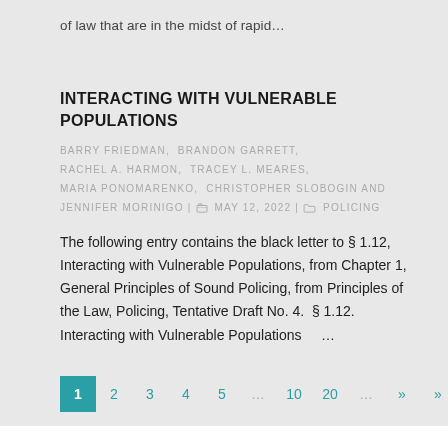of law that are in the midst of rapid…
INTERACTING WITH VULNERABLE POPULATIONS
BARRY FRIEDMAN,  BRANDON GARRETT,  RACHEL A. HARMON,  TRACEY L. MEARES,  MARIA PONOMARENKO,  CHRISTOPHER SLOBOGIN AND JENNIFER MORINIGO | MAY 12, 2022 | POLICING
The following entry contains the black letter to § 1.12, Interacting with Vulnerable Populations, from Chapter 1, General Principles of Sound Policing, from Principles of the Law, Policing, Tentative Draft No. 4.  § 1.12. Interacting with Vulnerable Populations    …
1  2  3  4  5  …  10  20  …  »  »